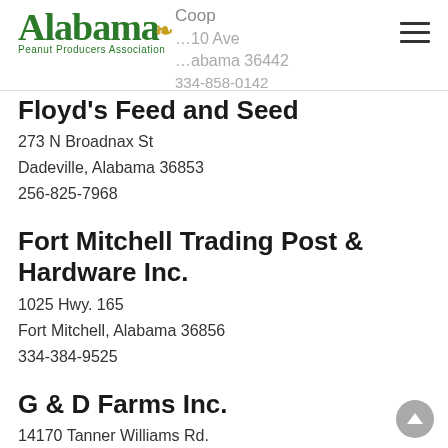[Figure (logo): Alabama Peanut Producers Association logo with green script text and peanut leaf graphic]
Coop
10 Ave
abama 36442
334-858-0142
Floyd's Feed and Seed
273 N Broadnax St
Dadeville, Alabama 36853
256-825-7968
Fort Mitchell Trading Post & Hardware Inc.
1025 Hwy. 165
Fort Mitchell, Alabama 36856
334-384-9525
G & D Farms Inc.
14170 Tanner Williams Rd.
Wilmer, Alabama 36587